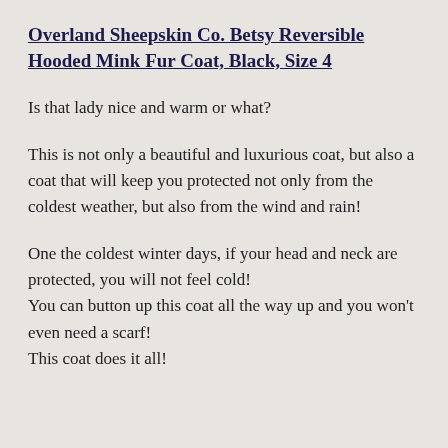Overland Sheepskin Co. Betsy Reversible Hooded Mink Fur Coat, Black, Size 4
Is that lady nice and warm or what?
This is not only a beautiful and luxurious coat, but also a coat that will keep you protected not only from the coldest weather, but also from the wind and rain!
One the coldest winter days, if your head and neck are protected, you will not feel cold!
You can button up this coat all the way up and you won't even need a scarf!
This coat does it all!